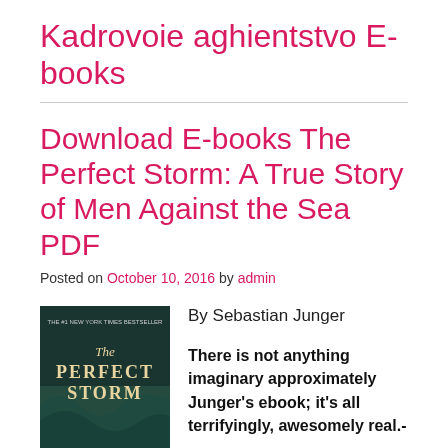Kadrovoie aghientstvo E-books
Download E-books The Perfect Storm: A True Story of Men Against the Sea PDF
Posted on October 10, 2016 by admin
[Figure (photo): Book cover of The Perfect Storm by Sebastian Junger showing dark ocean waves with the title text]
By Sebastian Junger
There is not anything imaginary approximately Junger's ebook; it's all terrifyingly, awesomely real.--